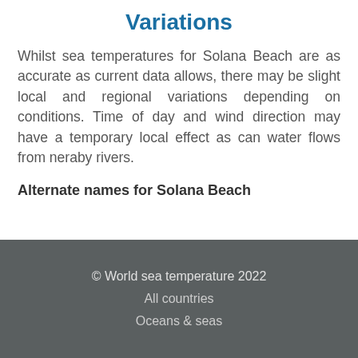Variations
Whilst sea temperatures for Solana Beach are as accurate as current data allows, there may be slight local and regional variations depending on conditions. Time of day and wind direction may have a temporary local effect as can water flows from neraby rivers.
Alternate names for Solana Beach
© World sea temperature 2022
All countries
Oceans & seas